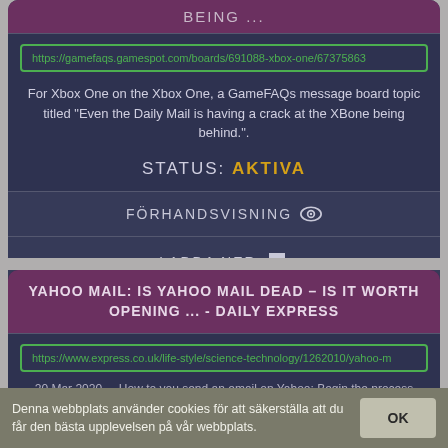BEING ...
https://gamefaqs.gamespot.com/boards/691088-xbox-one/67375863
For Xbox One on the Xbox One, a GameFAQs message board topic titled "Even the Daily Mail is having a crack at the XBone being behind.".
STATUS: AKTIVA
FÖRHANDSVISNING
LADDA NER
YAHOO MAIL: IS YAHOO MAIL DEAD – IS IT WORTH OPENING ... - DAILY EXPRESS
https://www.express.co.uk/life-style/science-technology/1262010/yahoo-m
20 Mar 2020 ... How to you send an email on Yahoo: Begin the process
Denna webbplats använder cookies för att säkerställa att du får den bästa upplevelsen på vår webbplats.
OK